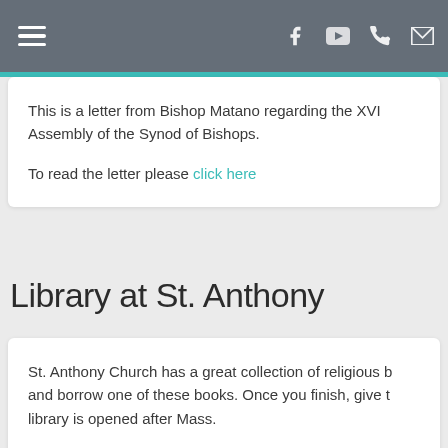Navigation bar with hamburger menu and social/contact icons
This is a letter from Bishop Matano regarding the XVI Assembly of the Synod of Bishops.

To read the letter please click here
Library at St. Anthony
St. Anthony Church has a great collection of religious books and borrow one of these books. Once you finish, give the library is opened after Mass.

You can find the list of the books clicking here